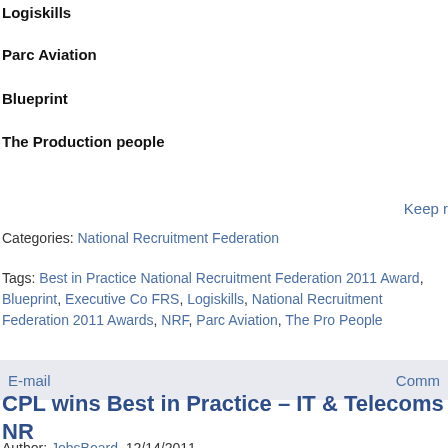Logiskills
Parc Aviation
Blueprint
The Production people
Keep r
Categories: National Recruitment Federation
Tags: Best in Practice National Recruitment Federation 2011 Award, Blueprint, Executive Co FRS, Logiskills, National Recruitment Federation 2011 Awards, NRF, Parc Aviation, The Pro People
E-mail
Comm
CPL wins Best in Practice – IT & Telecoms NR 2011 Award
Author: JobsBoard 12/14/2011